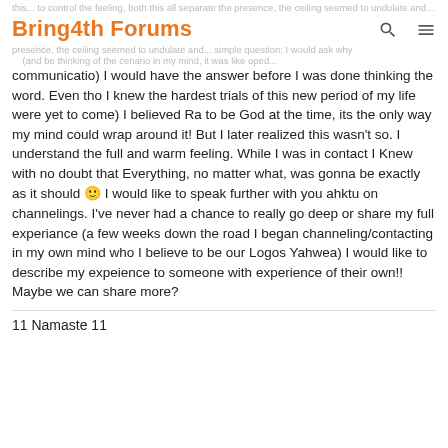Bring4th Forums
communicatio) I would have the answer before I was done thinking the word. Even tho I knew the hardest trials of this new period of my life were yet to come) I believed Ra to be God at the time, its the only way my mind could wrap around it! But I later realized this wasn't so. I understand the full and warm feeling. While I was in contact I Knew with no doubt that Everything, no matter what, was gonna be exactly as it should 🙂 I would like to speak further with you ahktu on channelings. I've never had a chance to really go deep or share my full experiance (a few weeks down the road I began channeling/contacting in my own mind who I believe to be our Logos Yahwea) I would like to describe my expeience to someone with experience of their own!! Maybe we can share more?
11 Namaste 11